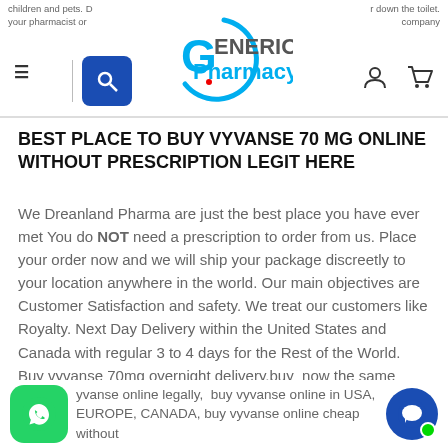children and pets. D...r down the toilet. ...into a...d to do so. ...your pharmacist or...company
BEST PLACE TO BUY VYVANSE 70 MG ONLINE WITHOUT PRESCRIPTION LEGIT HERE
We Dreanland Pharma are just the best place you have ever met You do NOT need a prescription to order from us. Place your order now and we will ship your package discreetly to your location anywhere in the world. Our main objectives are Customer Satisfaction and safety. We treat our customers like Royalty. Next Day Delivery within the United States and Canada with regular 3 to 4 days for the Rest of the World. Buy vyvanse 70mg overnight delivery,buy  now the same price per pill place your order and be precise.
yvanse online legally,  buy vyvanse online in USA, EUROPE, CANADA, buy vyvanse online cheap without